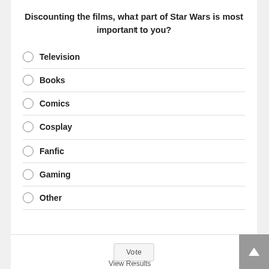Discounting the films, what part of Star Wars is most important to you?
Television
Books
Comics
Cosplay
Fanfic
Gaming
Other
Vote
View Results